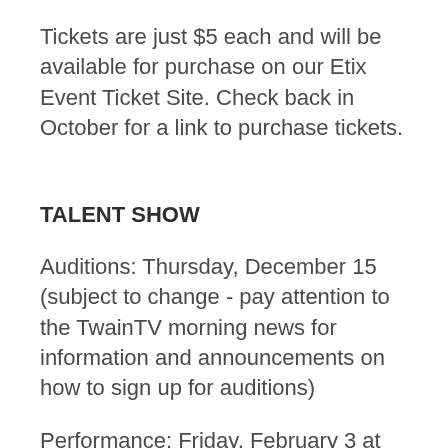Tickets are just $5 each and will be available for purchase on our Etix Event Ticket Site. Check back in October for a link to purchase tickets.
TALENT SHOW
Auditions: Thursday, December 15 (subject to change - pay attention to the TwainTV morning news for information and announcements on how to sign up for auditions)
Performance: Friday, February 3 at 7:00 pm